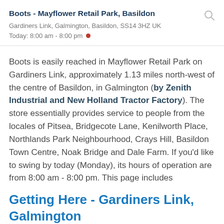Boots - Mayflower Retail Park, Basildon
Gardiners Link, Galmington, Basildon, SS14 3HZ UK
Today: 8:00 am - 8:00 pm
Boots is easily reached in Mayflower Retail Park on Gardiners Link, approximately 1.13 miles north-west of the centre of Basildon, in Galmington (by Zenith Industrial and New Holland Tractor Factory). The store essentially provides service to people from the locales of Pitsea, Bridgecote Lane, Kenilworth Place, Northlands Park Neighbourhood, Crays Hill, Basildon Town Centre, Noak Bridge and Dale Farm. If you'd like to swing by today (Monday), its hours of operation are from 8:00 am - 8:00 pm. This page includes information for Boots Mayflower Retail Park, Basildon, including the business hours, pharmacy location or product ranges.
Getting Here - Gardiners Link, Galmington